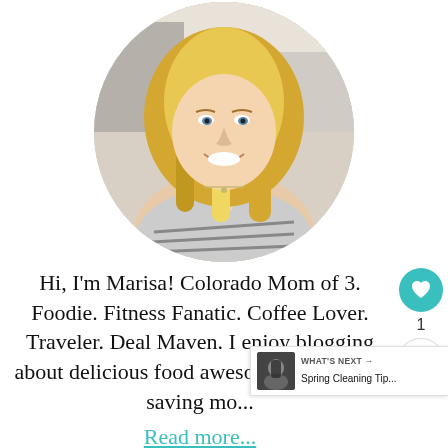[Figure (photo): Circular portrait photo of a blonde woman smiling, wearing a striped top, with a light kitchen background]
Hi, I'm Marisa! Colorado Mom of 3. Foodie. Fitness Fanatic. Coffee Lover. Traveler. Deal Maven. I enjoy blogging about delicious food awesome products & saving mo...
Read more...
[Figure (infographic): WHAT'S NEXT -> Spring Cleaning Tip... banner with small photo thumbnail on the right side]